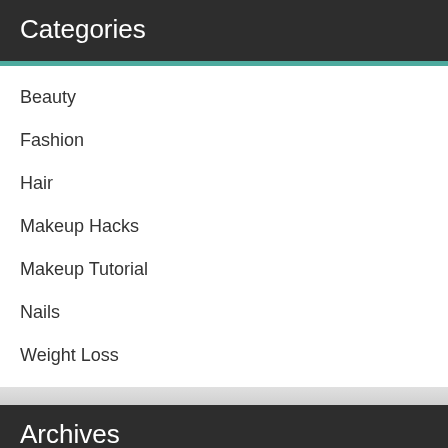Categories
Beauty
Fashion
Hair
Makeup Hacks
Makeup Tutorial
Nails
Weight Loss
Archives
August 2022